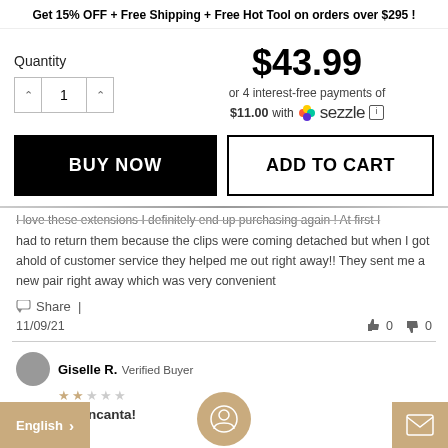Get 15% OFF + Free Shipping + Free Hot Tool on orders over $295 !
$43.99
or 4 interest-free payments of
$11.00 with Sezzle
Quantity  1
BUY NOW
ADD TO CART
I love these extensions I definitely end up purchasing again ! At first I had to return them because the clips were coming detached but when I got ahold of customer service they helped me out right away!! They sent me a new pair right away which was very convenient
Share  |
11/09/21
0  0
Giselle R.  Verified Buyer
Me encanta!